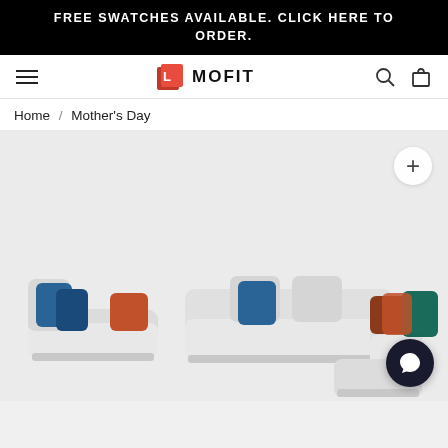FREE SWATCHES AVAILABLE. CLICK HERE TO ORDER.
[Figure (screenshot): Website navigation bar with hamburger menu on left, Mofit logo in center, search and bag icons on right]
Home / Mother's Day
[Figure (photo): Modern modular sofa set in light grey/white upholstery with blue and rust/orange decorative cushions, shown as a sectional L-shape plus separate ottoman piece]